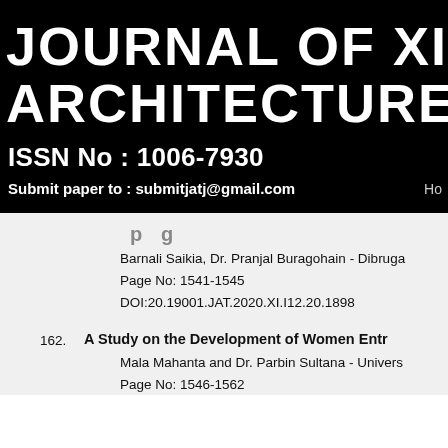JOURNAL OF XI'AN U ARCHITECTURE & TE
ISSN No : 1006-7930
Submit paper to : submitjatj@gmail.com   Ho
...p...g...
Barnali Saikia, Dr. Pranjal Buragohain - Dibruga
Page No: 1541-1545
DOI:20.19001.JAT.2020.XI.I12.20.1898
162. A Study on the Development of Women Entr
Mala Mahanta and Dr. Parbin Sultana - Univers
Page No: 1546-1562